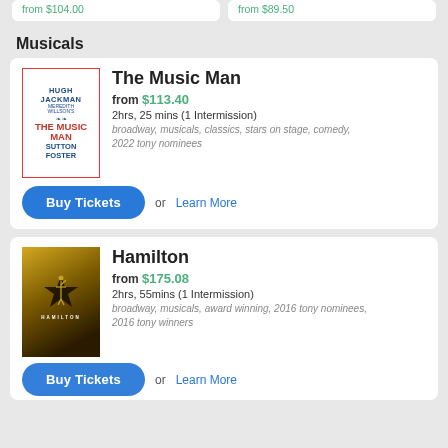from $104.00
from $89.50
Musicals
The Music Man
from $113.40
2hrs, 25 mins (1 Intermission)
broadway, musicals, classics, stars on stage, comedy, 2022 tony nominees
Buy Tickets
or Learn More
Hamilton
from $175.08
2hrs, 55mins (1 Intermission)
broadway, musicals, award winning, 2016 tony nominees, 2016 tony winners
Buy Tickets
or Learn More